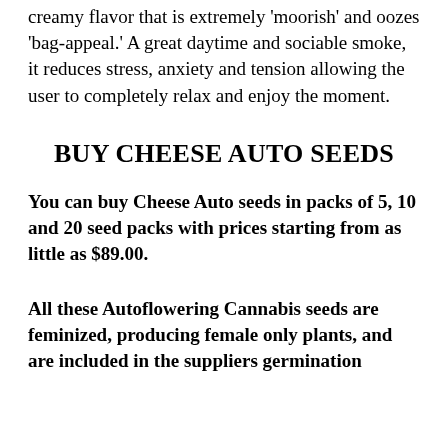creamy flavor that is extremely 'moorish' and oozes 'bag-appeal.' A great daytime and sociable smoke, it reduces stress, anxiety and tension allowing the user to completely relax and enjoy the moment.
BUY CHEESE AUTO SEEDS
You can buy Cheese Auto seeds in packs of 5, 10 and 20 seed packs with prices starting from as little as $89.00.
All these Autoflowering Cannabis seeds are feminized, producing female only plants, and are included in the suppliers germination